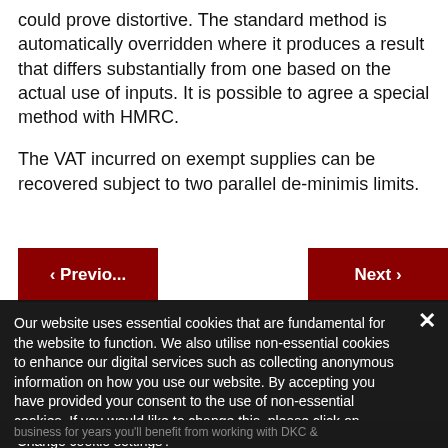could prove distortive. The standard method is automatically overridden where it produces a result that differs substantially from one based on the actual use of inputs. It is possible to agree a special method with HMRC.
The VAT incurred on exempt supplies can be recovered subject to two parallel de-minimis limits.
Our website uses essential cookies that are fundamental for the website to function. We also utilise non-essential cookies to enhance our digital services such as collecting anonymous information on how you use our website. By accepting you have provided your consent to the use of non-essential cookies. If you would like to change this, please click on 'Change cookie settings'.
Accept & Close
Change cookie settings
business for years you'll benefit from working with DKC &